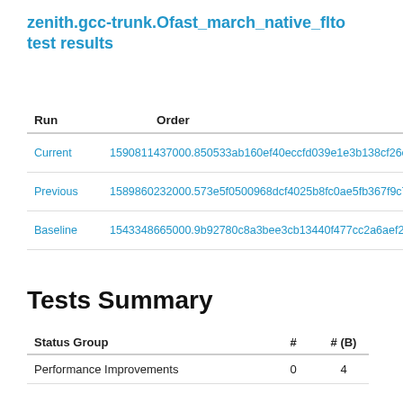zenith.gcc-trunk.Ofast_march_native_flto test results
| Run | Order |
| --- | --- |
| Current | 1590811437000.850533ab160ef40eccfd039e1e3b138cf26e76 |
| Previous | 1589860232000.573e5f0500968dcf4025b8fc0ae5fb367f9c70c |
| Baseline | 1543348665000.9b92780c8a3bee3cb13440f477cc2a6aef2ce3 |
Tests Summary
| Status Group | # | # (B) |
| --- | --- | --- |
| Performance Improvements | 0 | 4 |